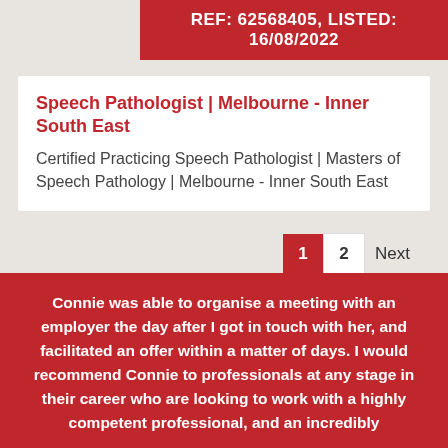REF: 62568405, LISTED: 16/08/2022
Speech Pathologist | Melbourne - Inner South East
Certified Practicing Speech Pathologist | Masters of Speech Pathology | Melbourne - Inner South East
1  2  Next
Connie was able to organise a meeting with an employer the day after I got in touch with her, and facilitated an offer within a matter of days. I would recommend Connie to professionals at any stage in their career who are looking to work with a highly competent professional, and an incredibly